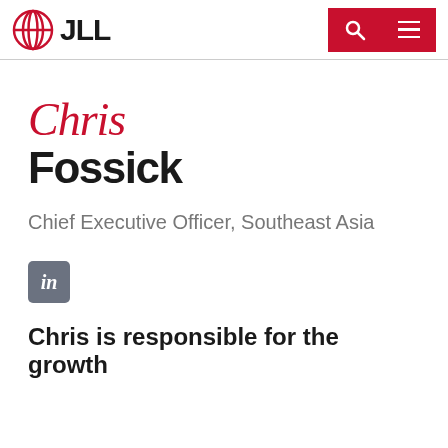JLL — Chief Executive Officer, Southeast Asia profile page header with navigation
Chris Fossick
Chief Executive Officer, Southeast Asia
[Figure (logo): LinkedIn logo icon — grey rounded square with white 'in']
Chris is responsible for the growth